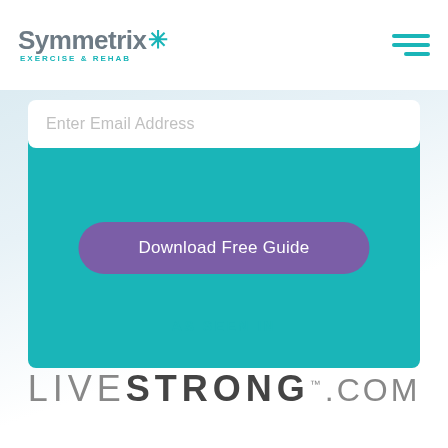[Figure (logo): Symmetrix Exercise & Rehab logo with teal star/person icon]
[Figure (illustration): Hamburger menu icon (three teal horizontal lines)]
Enter Email Address
Download Free Guide
AS SEEN IN
LIVESTRONG.COM